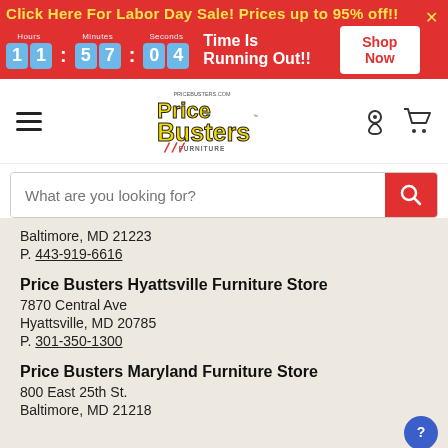Click Here For Labor Day Sale! Prices up to 95% off!!
[Figure (screenshot): Countdown timer showing 11 hours, 57 minutes, 04 seconds with 'Time Is Running Out!!' text and Shop Now button]
[Figure (logo): Price Busters Furniture logo - pricebusters.com with yellow and black stylized text]
[Figure (screenshot): Search bar with placeholder text 'What are you looking for?' and red search button]
Baltimore, MD 21223
P. 443-919-6616
Price Busters Hyattsville Furniture Store
7870 Central Ave
Hyattsville, MD 20785
P. 301-350-1300
Price Busters Maryland Furniture Store
800 East 25th St.
Baltimore, MD 21218